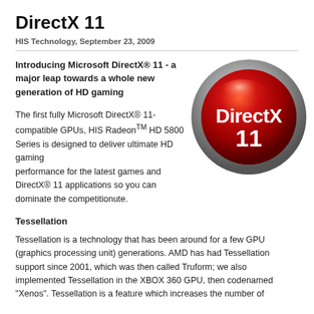DirectX 11
HIS Technology, September 23, 2009
Introducing Microsoft DirectX® 11 - a major leap towards a whole new generation of HD gaming
[Figure (logo): DirectX 11 red glossy badge logo with chrome border]
The first fully Microsoft DirectX® 11-compatible GPUs, HIS Radeon™ HD 5800 Series is designed to deliver ultimate HD gaming performance for the latest games and DirectX® 11 applications so you can dominate the competitionute.
Tessellation
Tessellation is a technology that has been around for a few GPU (graphics processing unit) generations. AMD has had Tessellation support since 2001, which was then called Truform; we also implemented Tessellation in the XBOX 360 GPU, then codenamed "Xenos". Tessellation is a feature which increases the number of